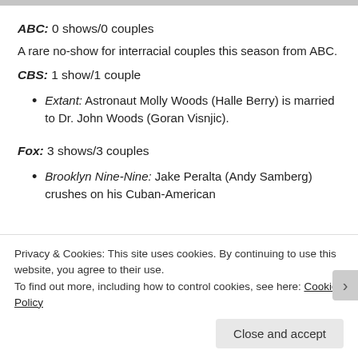ABC: 0 shows/0 couples
A rare no-show for interracial couples this season from ABC.
CBS: 1 show/1 couple
Extant: Astronaut Molly Woods (Halle Berry) is married to Dr. John Woods (Goran Visnjic).
Fox: 3 shows/3 couples
Brooklyn Nine-Nine: Jake Peralta (Andy Samberg) crushes on his Cuban-American
Privacy & Cookies: This site uses cookies. By continuing to use this website, you agree to their use.
To find out more, including how to control cookies, see here: Cookie Policy